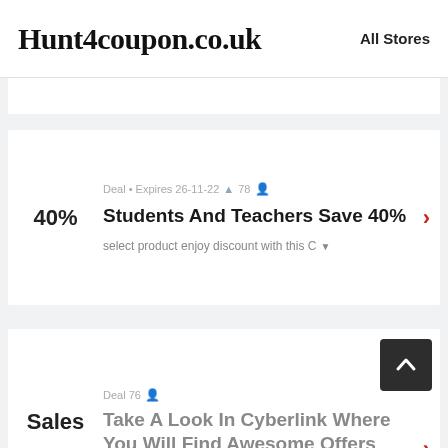Hunt4coupon.co.uk   All Stores
Deal • Expires 26-11-22 🔔 78 👤 | 40% | Students And Teachers Save 40% | select product enjoy discount with this C
Deal 76 👤 | Sales | Take A Look In Cyberlink Where You Will Find Awesome Offers